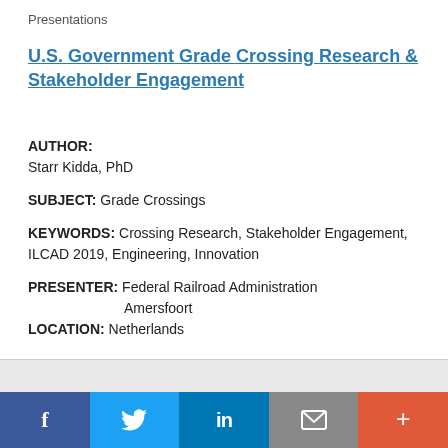Presentations
U.S. Government Grade Crossing Research & Stakeholder Engagement
AUTHOR: Starr Kidda, PhD
SUBJECT: Grade Crossings
KEYWORDS: Crossing Research, Stakeholder Engagement, ILCAD 2019, Engineering, Innovation
PRESENTER: Federal Railroad Administration Amersfoort LOCATION: Netherlands